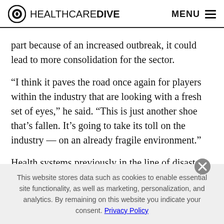HEALTHCARE DIVE   MENU
part because of an increased outbreak, it could lead to more consolidation for the sector.
“I think it paves the road once again for players within the industry that are looking with a fresh set of eyes,” he said. “This is just another shoe that’s fallen. It’s going to take its toll on the industry — on an already fragile environment.”
Health systems previously in the line of disasters like
This website stores data such as cookies to enable essential site functionality, as well as marketing, personalization, and analytics. By remaining on this website you indicate your consent. Privacy Policy